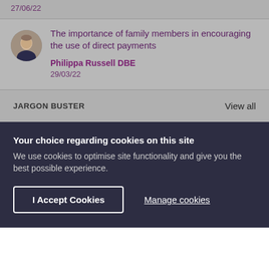27/06/22
The importance of family members in encouraging the use of direct payments
Philippa Russell DBE
29/03/22
JARGON BUSTER
View all
Your choice regarding cookies on this site
We use cookies to optimise site functionality and give you the best possible experience.
I Accept Cookies
Manage cookies